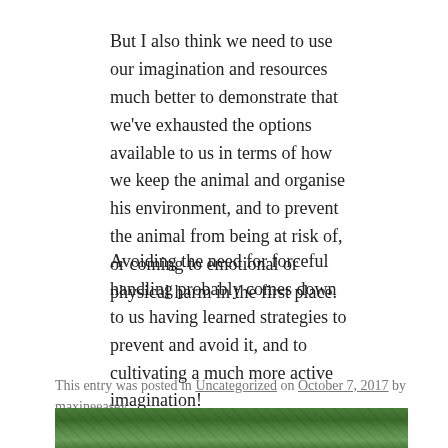But I also think we need to use our imagination and resources much better to demonstrate that we've exhausted the options available to us in terms of how we keep the animal and organise his environment, and to prevent the animal from being at risk of, or coming to emotional or physical harm in the first place.
Avoiding the need for forceful handling probably comes down to us having learned strategies to prevent and avoid it, and to cultivating a much more active imagination!
This entry was posted in Uncategorized on October 7, 2017 by maxineeasey.
[Figure (photo): Partial photo of outdoor scene with green trees/foliage visible at bottom of page]